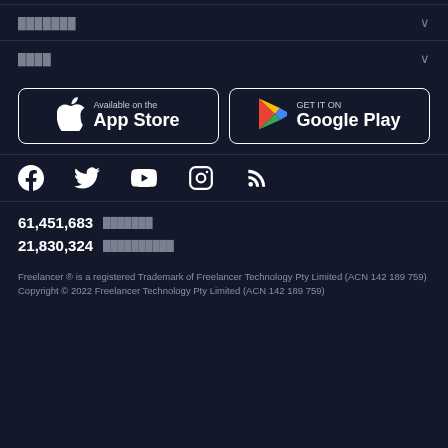███████ ∨
████ ∨
[Figure (logo): Available on the App Store button and GET IT ON Google Play button]
[Figure (infographic): Social media icons: Facebook, Twitter, YouTube, Instagram, RSS feed]
61,451,683 ███████
21,830,324 ██████████
Freelancer ® is a registered Trademark of Freelancer Technology Pty Limited (ACN 142 189 759)
Copyright © 2022 Freelancer Technology Pty Limited (ACN 142 189 759)